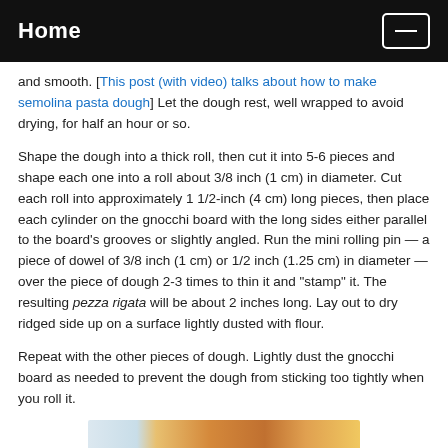Home
and smooth. [This post (with video) talks about how to make semolina pasta dough] Let the dough rest, well wrapped to avoid drying, for half an hour or so.
Shape the dough into a thick roll, then cut it into 5-6 pieces and shape each one into a roll about 3/8 inch (1 cm) in diameter. Cut each roll into approximately 1 1/2-inch (4 cm) long pieces, then place each cylinder on the gnocchi board with the long sides either parallel to the board's grooves or slightly angled. Run the mini rolling pin — a piece of dowel of 3/8 inch (1 cm) or 1/2 inch (1.25 cm) in diameter — over the piece of dough 2-3 times to thin it and "stamp" it. The resulting pezza rigata will be about 2 inches long. Lay out to dry ridged side up on a surface lightly dusted with flour.
Repeat with the other pieces of dough. Lightly dust the gnocchi board as needed to prevent the dough from sticking too tightly when you roll it.
[Figure (photo): Partial view of orange/golden pasta pieces on a light surface]